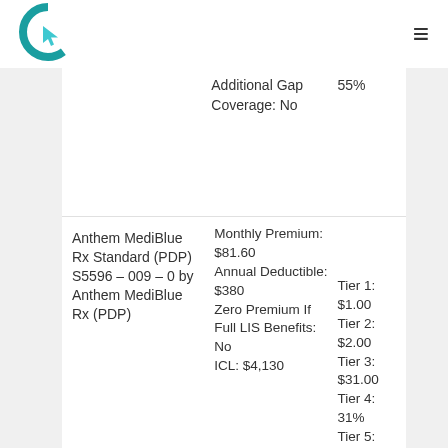[Figure (logo): Circular teal logo with cursor arrow icon]
| Plan Name | Details | Tiers |
| --- | --- | --- |
|  | Additional Gap Coverage: No | 55% |
| Anthem MediBlue Rx Standard (PDP) S5596 – 009 – 0 by Anthem MediBlue Rx (PDP) | Monthly Premium: $81.60 Annual Deductible: $380 Zero Premium If Full LIS Benefits: No ICL: $4,130 | Tier 1: $1.00 Tier 2: $2.00 Tier 3: $31.00 Tier 4: 31% Tier 5: |